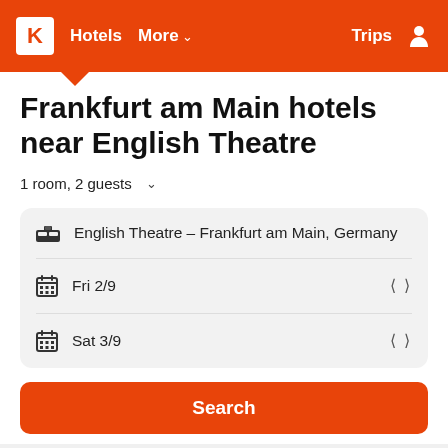K  Hotels  More  Trips
Frankfurt am Main hotels near English Theatre
1 room, 2 guests
English Theatre – Frankfurt am Main, Germany
Fri 2/9
Sat 3/9
Search